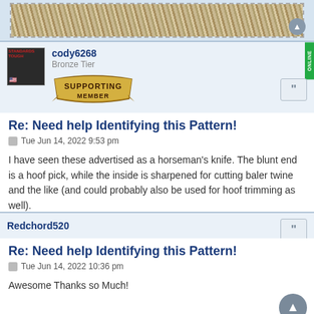[Figure (photo): Carpet/textile close-up photo at top of page]
cody6268
Bronze Tier
[Figure (illustration): Supporting Member badge/banner]
Re: Need help Identifying this Pattern!
Tue Jun 14, 2022 9:53 pm
I have seen these advertised as a horseman's knife. The blunt end is a hoof pick, while the inside is sharpened for cutting baler twine and the like (and could probably also be used for hoof trimming as well).
Redchord520
Re: Need help Identifying this Pattern!
Tue Jun 14, 2022 10:36 pm
Awesome Thanks so Much!